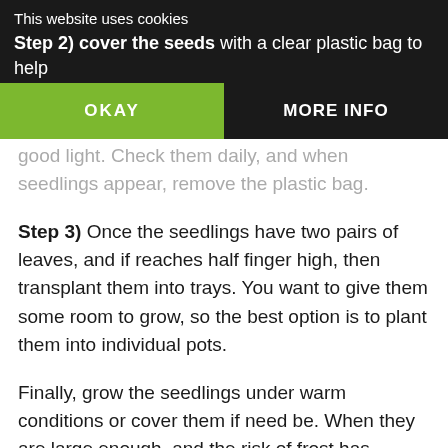This website uses cookies
Step 2) cover the seeds with a clear plastic bag to help them some [warmth] with good light. Check them daily, and when seedlings appear, remove the plastic bag.
Step 3) Once the seedlings have two pairs of leaves, and if reaches half finger high, then transplant them into trays. You want to give them some room to grow, so the best option is to plant them into individual pots.
Finally, grow the seedlings under warm conditions or cover them if need be. When they are large enough, and the risk of frost has passed, acclimatise them to the outdoor climate. Only place them outside by day, and collect them inside by night, for the next ten days or so.